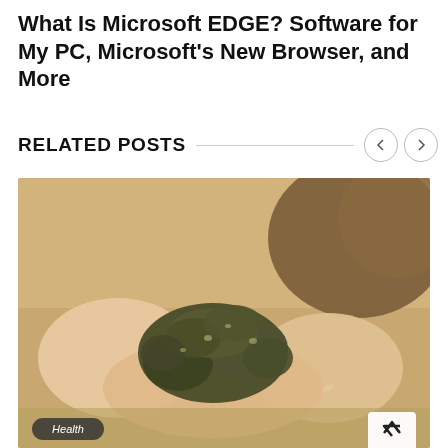What Is Microsoft EDGE? Software for My PC, Microsoft's New Browser, and More
RELATED POSTS
[Figure (photo): Close-up photo of two hands cupped together holding a large pile of cannabis/marijuana buds, person wearing a brown knit sweater, blurred outdoor background. A 'Health' category badge appears in the bottom left corner. A scroll-to-top button appears in the bottom right.]